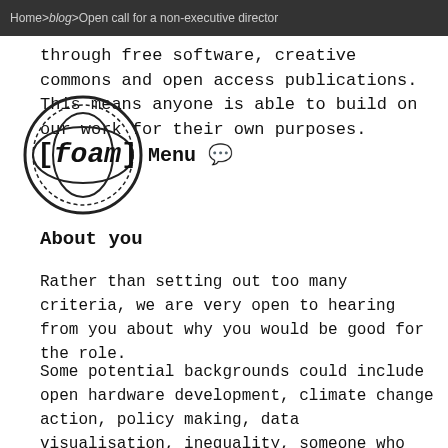Home > blog > Open call for a non-executive director
through free software, creative commons and open access publications. This means anyone is able to build on our work for their own purposes.
[Figure (logo): foam logo - circular stamp style with [foam] text]
Menu
About you
Rather than setting out too many criteria, we are very open to hearing from you about why you would be good for the role.
Some potential backgrounds could include open hardware development, climate change action, policy making, data visualisation, inequality, someone who works for or runs a public organisation like a museum, media lab or botanical garden, or something completely different. We welcome and actively seek diversity as it brings the breadth of perspectives, ideas, knowledge and culture that is